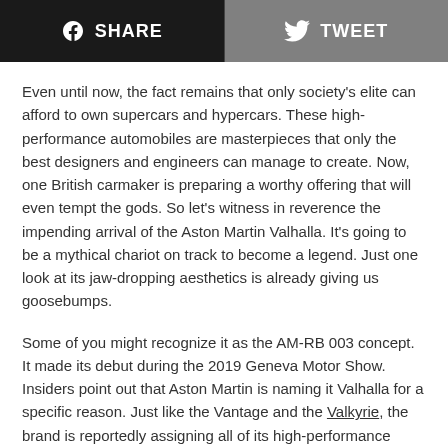SHARE  TWEET
Even until now, the fact remains that only society’s elite can afford to own supercars and hypercars. These high-performance automobiles are masterpieces that only the best designers and engineers can manage to create. Now, one British carmaker is preparing a worthy offering that will even tempt the gods. So let’s witness in reverence the impending arrival of the Aston Martin Valhalla. It’s going to be a mythical chariot on track to become a legend. Just one look at its jaw-dropping aesthetics is already giving us goosebumps.
Some of you might recognize it as the AM-RB 003 concept. It made its debut during the 2019 Geneva Motor Show. Insiders point out that Aston Martin is naming it Valhalla for a specific reason. Just like the Vantage and the Valkyrie, the brand is reportedly assigning all of its high-performance models